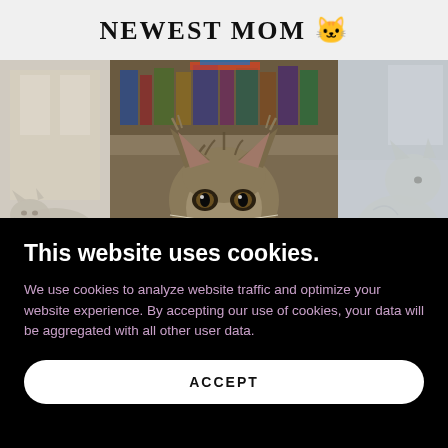NEWEST MOM 🐱
[Figure (photo): Three photos of fluffy cats in a collage — left and right photos are slightly faded/muted, center photo shows a close-up of a large fluffy tabby Maine Coon cat facing the camera with a bookshelf in the background]
This website uses cookies.
We use cookies to analyze website traffic and optimize your website experience. By accepting our use of cookies, your data will be aggregated with all other user data.
ACCEPT